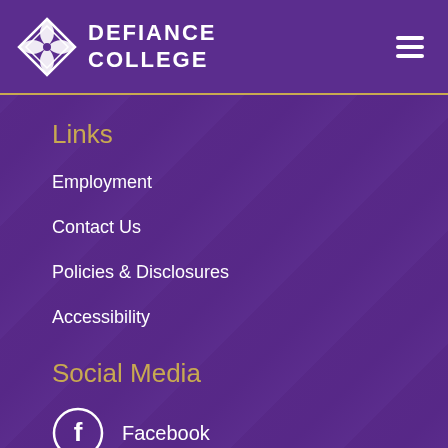DEFIANCE COLLEGE
Links
Employment
Contact Us
Policies & Disclosures
Accessibility
Social Media
Facebook
Twitter